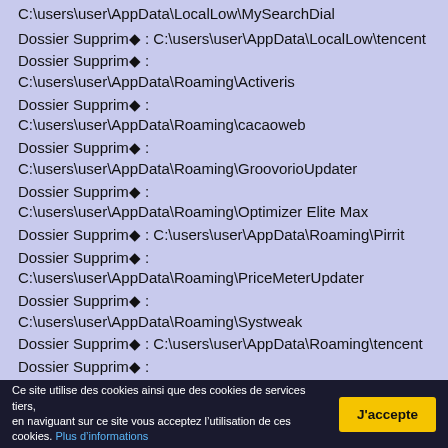C:\users\user\AppData\LocalLow\MySearchDial
Dossier Supprimé : C:\users\user\AppData\LocalLow\tencent
Dossier Supprimé : C:\users\user\AppData\Roaming\Activeris
Dossier Supprimé : C:\users\user\AppData\Roaming\cacaoweb
Dossier Supprimé : C:\users\user\AppData\Roaming\GroovorioUpdater
Dossier Supprimé : C:\users\user\AppData\Roaming\Optimizer Elite Max
Dossier Supprimé : C:\users\user\AppData\Roaming\Pirrit
Dossier Supprimé : C:\users\user\AppData\Roaming\PriceMeterUpdater
Dossier Supprimé : C:\users\user\AppData\Roaming\Systweak
Dossier Supprimé : C:\users\user\AppData\Roaming\tencent
Dossier Supprimé : C:\users\user\AppData\Roaming\VOPackage
Dossier Supprimé : C:\users\user\AppData\Roaming\Microsoft\Windows\Start Menu\Programs\VOPackage
Ce site utilise des cookies ainsi que des cookies de services tiers, en naviguant sur ce site vous acceptez l’utilisation de ces cookies. Plus d’informations